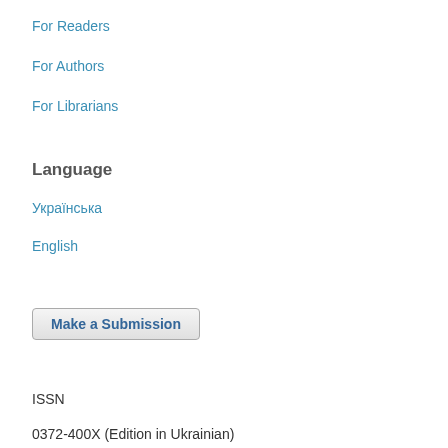For Readers
For Authors
For Librarians
Language
Українська
English
Make a Submission
ISSN
0372-400X (Edition in Ukrainian)